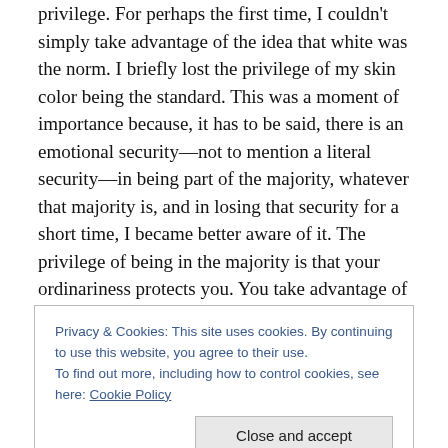privilege. For perhaps the first time, I couldn't simply take advantage of the idea that white was the norm. I briefly lost the privilege of my skin color being the standard. This was a moment of importance because, it has to be said, there is an emotional security—not to mention a literal security—in being part of the majority, whatever that majority is, and in losing that security for a short time, I became better aware of it. The privilege of being in the majority is that your ordinariness protects you. You take advantage of the lack of deviance. You don't have to constantly question how others will react to you, whether
Privacy & Cookies: This site uses cookies. By continuing to use this website, you agree to their use.
To find out more, including how to control cookies, see here: Cookie Policy
Of course, this claim to the majority can manifest in a